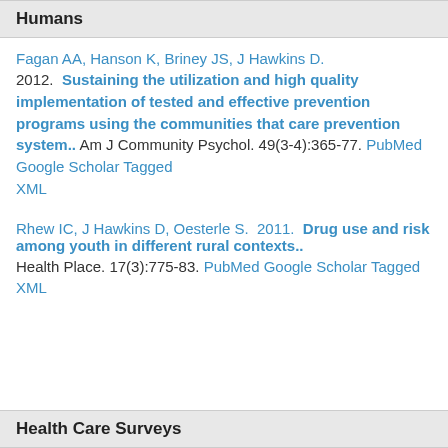Humans
Fagan AA, Hanson K, Briney JS, J Hawkins D. 2012. Sustaining the utilization and high quality implementation of tested and effective prevention programs using the communities that care prevention system.. Am J Community Psychol. 49(3-4):365-77. PubMed Google Scholar Tagged XML
Rhew IC, J Hawkins D, Oesterle S. 2011. Drug use and risk among youth in different rural contexts.. Health Place. 17(3):775-83. PubMed Google Scholar Tagged XML
Health Care Surveys